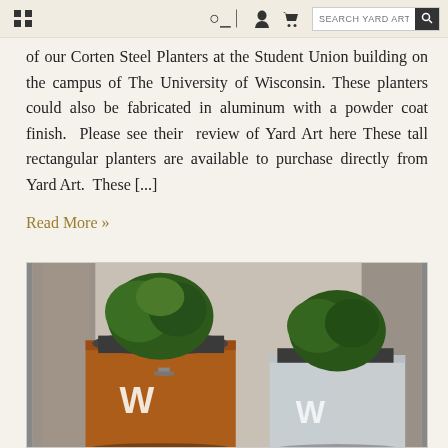SEARCH YARD ART
of our Corten Steel Planters at the Student Union building on the campus of The University of Wisconsin. These planters could also be fabricated in aluminum with a powder coat finish.  Please see their  review of Yard Art here These tall rectangular planters are available to purchase directly from Yard Art.  These [...]
Read More »
[Figure (photo): Photo of two large square Corten Steel planters with a 'W' logo on them. One planter is rust-colored (Corten steel) and one is silver/galvanized. Each contains an evergreen shrub planted in dark gravel mulch. Stone columns are visible in the background.]